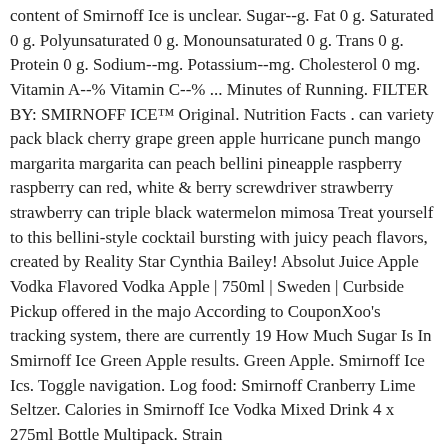content of Smirnoff Ice is unclear. Sugar--g. Fat 0 g. Saturated 0 g. Polyunsaturated 0 g. Monounsaturated 0 g. Trans 0 g. Protein 0 g. Sodium--mg. Potassium--mg. Cholesterol 0 mg. Vitamin A--% Vitamin C--% ... Minutes of Running. FILTER BY: SMIRNOFF ICE™ Original. Nutrition Facts . can variety pack black cherry grape green apple hurricane punch mango margarita margarita can peach bellini pineapple raspberry raspberry can red, white & berry screwdriver strawberry strawberry can triple black watermelon mimosa Treat yourself to this bellini-style cocktail bursting with juicy peach flavors, created by Reality Star Cynthia Bailey! Absolut Juice Apple Vodka Flavored Vodka Apple | 750ml | Sweden | Curbside Pickup offered in the majo According to CouponXoo's tracking system, there are currently 19 How Much Sugar Is In Smirnoff Ice Green Apple results. Green Apple. Smirnoff Ice Ics. Toggle navigation. Log food: Smirnoff Cranberry Lime Seltzer. Calories in Smirnoff Ice Vodka Mixed Drink 4 x 275ml Bottle Multipack. Strain